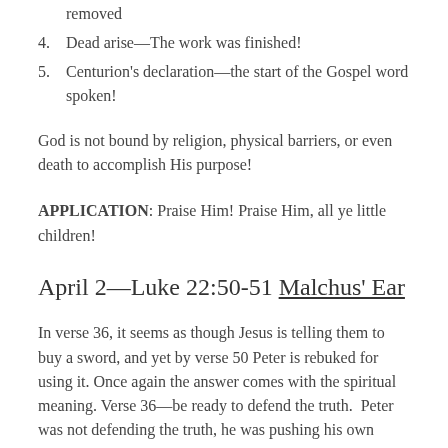removed
4. Dead arise—The work was finished!
5. Centurion’s declaration—the start of the Gospel word spoken!
God is not bound by religion, physical barriers, or even death to accomplish His purpose!
APPLICATION: Praise Him! Praise Him, all ye little children!
April 2—Luke 22:50-51 Malchus’ Ear
In verse 36, it seems as though Jesus is telling them to buy a sword, and yet by verse 50 Peter is rebuked for using it. Once again the answer comes with the spiritual meaning. Verse 36—be ready to defend the truth.  Peter was not defending the truth, he was pushing his own